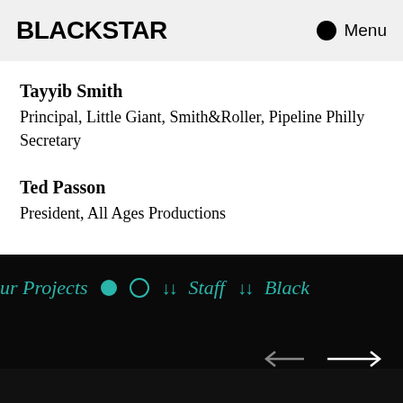BLACKSTAR  Menu
Tayyib Smith
Principal, Little Giant, Smith&Roller, Pipeline Philly
Secretary
Ted Passon
President, All Ages Productions
ur Projects  ●  ◌  ↓↓  Staff  ↓↓  Black